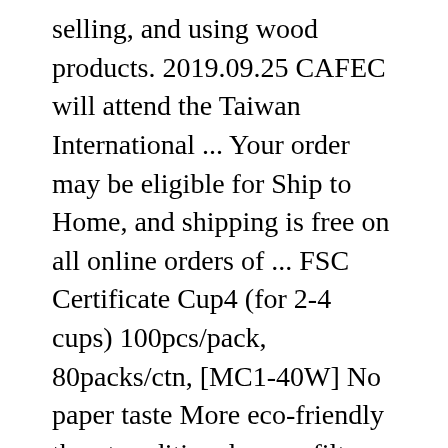selling, and using wood products. 2019.09.25 CAFEC will attend the Taiwan International ... Your order may be eligible for Ship to Home, and shipping is free on all online orders of ... FSC Certificate Cup4 (for 2-4 cups) 100pcs/pack, 80packs/ctn, [MC1-40W] No paper taste More eco-friendly than tranditional paper filter ... A perfect fit for our Gem Series and Tornado drippers, CAFEC coffee filters are an environmentally-friendly way to enjoy the best drip coffee. Roasting level special paper filters; for light roast, for medium-dark roast T-90 and for dark roast T-83. [DC1-100] The official Australian distributor for Cafec brewing gear. In the first half of brewing, because adhesion of fine...